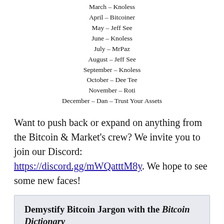March – Knoless
April – Bitcoiner
May – Jeff See
June – Knoless
July – MrPaz
August – Jeff See
September – Knoless
October – Dee Tee
November – Roti
December – Dan – Trust Your Assets
Want to push back or expand on anything from the Bitcoin & Market's crew? We invite you to join our Discord: https://discord.gg/mWQatttM8y. We hope to see some new faces!
Demystify Bitcoin Jargon with the Bitcoin Dictionary
Years of knowledge about bitcoin, blockchain, and cryptocurrency in 80 easy-to-read pages. Exposure